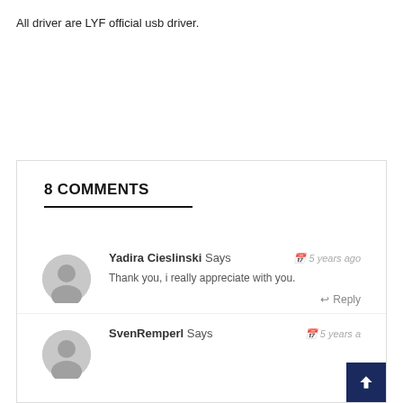All driver are LYF official usb driver.
8 COMMENTS
Yadira Cieslinski Says
5 years ago
Thank you, i really appreciate with you.
Reply
SvenRemperl Says
5 years a...